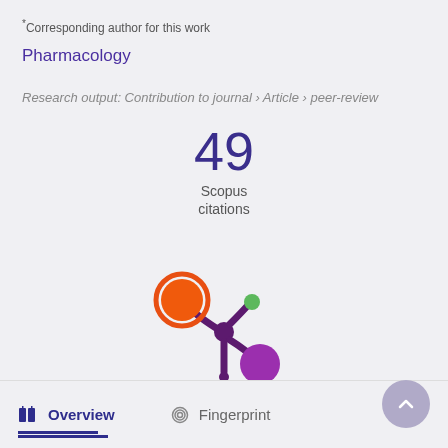*Corresponding author for this work
Pharmacology
Research output: Contribution to journal › Article › peer-review
49
Scopus
citations
[Figure (logo): Altmetric donut/splash logo with orange, purple, and green circles]
Overview   Fingerprint